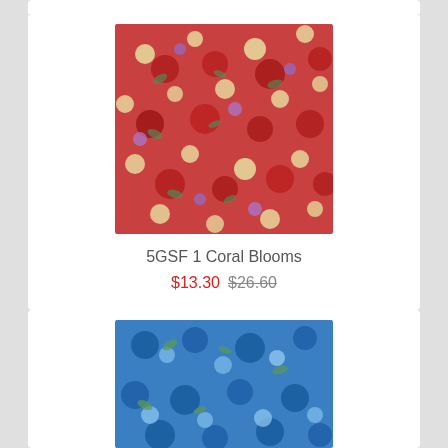[Figure (photo): Close-up photo of floral fabric with red, purple, and cream flowers on a dense pattern - product 5GSF 1 Coral Blooms]
5GSF 1 Coral Blooms
$13.30 $26.60
[Figure (photo): Close-up photo of floral fabric with blue flowers and green leaves on a blue background]